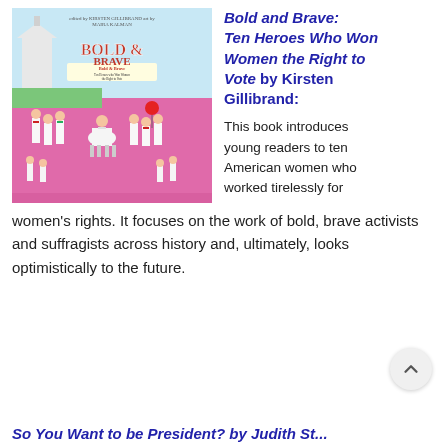[Figure (illustration): Book cover of 'Bold & Brave: Ten Heroes Who Won Women the Right to Vote' illustrated by Maira Kalman, showing women in white suffragist clothing marching with a banner and a woman on a white horse on a pink background.]
Bold and Brave: Ten Heroes Who Won Women the Right to Vote by Kirsten Gillibrand:
This book introduces young readers to ten American women who worked tirelessly for women's rights. It focuses on the work of bold, brave activists and suffragists across history and, ultimately, looks optimistically to the future.
So You Want to be President? by Judith St...